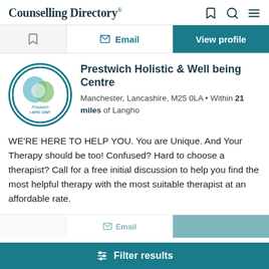Counselling Directory
Email   View profile
Prestwich Holistic & Well being Centre
Manchester, Lancashire, M25 0LA • Within 21 miles of Langho
WE'RE HERE TO HELP YOU. You are Unique. And Your Therapy should be too! Confused? Hard to choose a therapist? Call for a free initial discussion to help you find the most helpful therapy with the most suitable therapist at an affordable rate.
Filter results